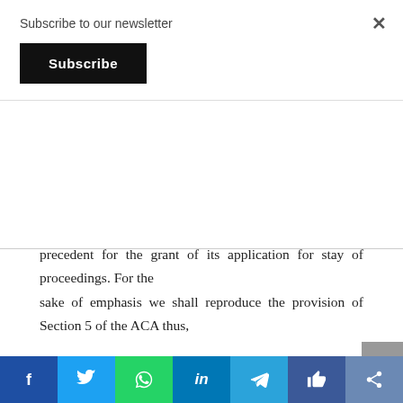Subscribe to our newsletter
Subscribe
precedent for the grant of its application for stay of proceedings. For the sake of emphasis we shall reproduce the provision of Section 5 of the ACA thus,
“5. (1) If any party to an arbitration agreement commences any action in any court with respect to any matter which is the
[Figure (other): Social media share bar with icons for Facebook, Twitter, WhatsApp, LinkedIn, Telegram, Like, and Share]